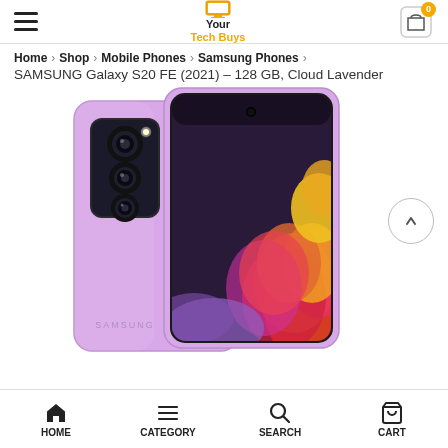Your Tech Buys — hamburger menu, logo, cart (0)
Home > Shop > Mobile Phones > Samsung Phones > SAMSUNG Galaxy S20 FE (2021) – 128 GB, Cloud Lavender
[Figure (photo): Samsung Galaxy S20 FE (2021) in Cloud Lavender — front and back view showing triple camera module on back and flower wallpaper on screen]
HOME | CATEGORY | SEARCH | CART